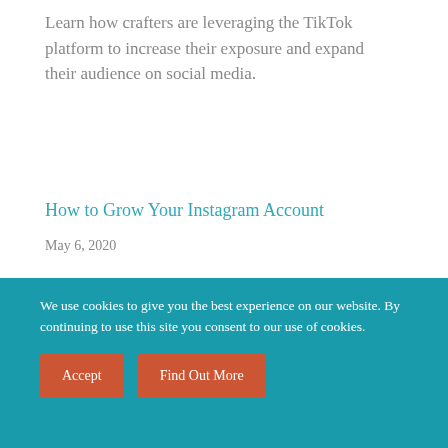Learn how crafters are leveraging the TikTok platform to increase their exposure and expand their audience on social media.
How to Grow Your Instagram Account
May 6, 2020
In this panel discussion, three craft business owners with large Instagram followings explain how they use the platform to build an engaged audience.
We use cookies to give you the best experience on our website. By continuing to use this site you consent to our use of cookies.
Accept
Find Out More